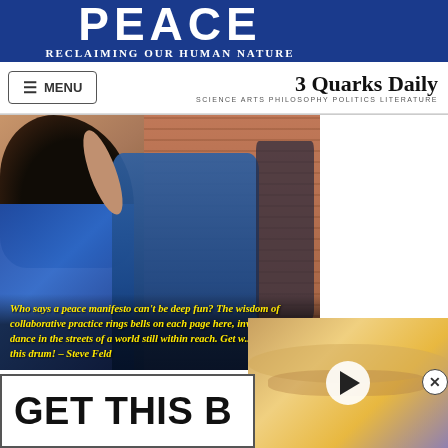[Figure (screenshot): Website screenshot showing blue banner with text PEACE and RECLAIMING OUR HUMAN NATURE, navigation bar with MENU button and 3 Quarks Daily branding, a photo of people dancing outdoors with an overlaid yellow italic quote, and a partial GET THIS B... promo box at the bottom]
PEACE
Reclaiming Our Human Nature
3 Quarks Daily
SCIENCE ARTS PHILOSOPHY POLITICS LITERATURE
Who says a peace manifesto can't be deep fun? The wisdom of collaborative practice rings bells on each page here, inviting us to dance in the streets of a world still within reach. Get w... this drum! – Steve Feld
GET THIS B